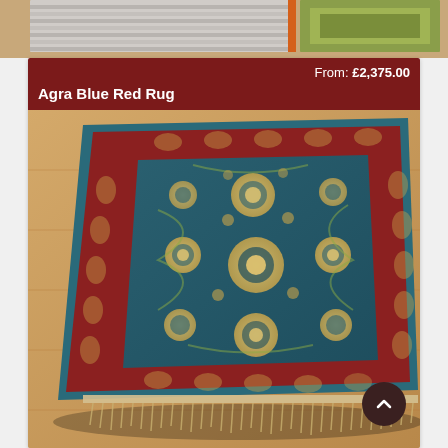[Figure (photo): Top strip showing partial views of other rugs including a gray/beige striped rug and a green/yellow rug on a wooden floor]
From: £2,375.00
Agra Blue Red Rug
[Figure (photo): An Agra Blue Red Rug displayed on a wooden floor. The rug features a teal/dark blue field with intricate floral and botanical patterns in gold/beige. It has a wide red border with elaborate floral motifs and a narrow teal outer border. The rug has fringe on the bottom edge.]